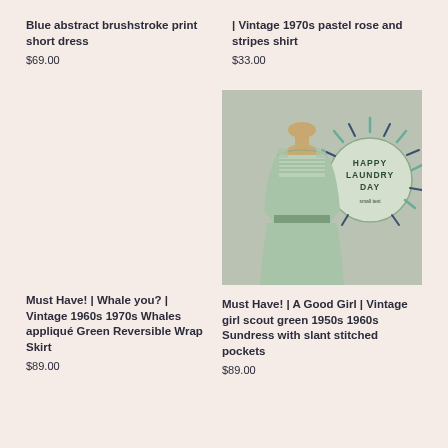Blue abstract brushstroke print short dress
$69.00
| Vintage 1970s pastel rose and stripes shirt
$33.00
[Figure (photo): Mint green vintage dress on mannequin with Happy Laundry Day signage in background]
Must Have! | Whale you? | Vintage 1960s 1970s Whales appliqué Green Reversible Wrap Skirt
$89.00
Must Have! | A Good Girl | Vintage girl scout green 1950s 1960s Sundress with slant stitched pockets
$89.00